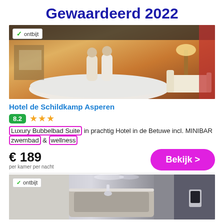Gewaardeerd 2022
[Figure (photo): Hotel room with large whirlpool bathtub, two people in white robes, warm lighting, hotel room interior]
✓ ontbijt
Hotel de Schildkamp Asperen
8.2 ★★★
Luxury Bubbelbad Suite in prachtig Hotel in de Betuwe incl. MINIBAR zwembad & wellness
€ 189
per kamer per nacht
Bekijk >
✓ ontbijt
[Figure (photo): Modern hotel bathroom with large tub/basin, dark curtains in background, grey tones]